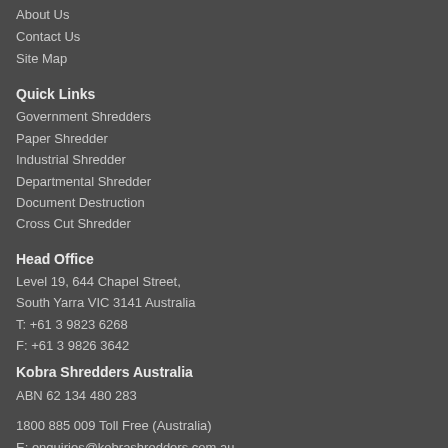About Us
Contact Us
Site Map
Quick Links
Government Shredders
Paper Shredder
Industrial Shredder
Departmental Shredder
Document Destruction
Cross Cut Shredder
Head Office
Level 19, 644 Chapel Street,
South Yarra VIC 3141 Australia
T: +61 3 9823 6268
F: +61 3 9826 3642
Kobra Shredders Australia
ABN 62 134 480 283
1800 885 009 Toll Free (Australia)
E: enquiries@kobrashredders.com.au